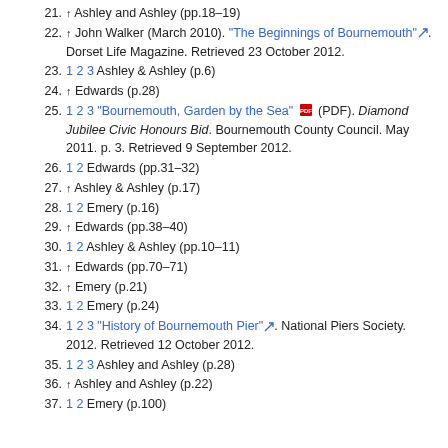21. ↑ Ashley and Ashley (pp.18–19)
22. ↑ John Walker (March 2010). "The Beginnings of Bournemouth". Dorset Life Magazine. Retrieved 23 October 2012.
23. 1 2 3 Ashley & Ashley (p.6)
24. ↑ Edwards (p.28)
25. 1 2 3 "Bournemouth, Garden by the Sea" (PDF). Diamond Jubilee Civic Honours Bid. Bournemouth County Council. May 2011. p. 3. Retrieved 9 September 2012.
26. 1 2 Edwards (pp.31–32)
27. ↑ Ashley & Ashley (p.17)
28. 1 2 Emery (p.16)
29. ↑ Edwards (pp.38–40)
30. 1 2 Ashley & Ashley (pp.10–11)
31. ↑ Edwards (pp.70–71)
32. ↑ Emery (p.21)
33. 1 2 Emery (p.24)
34. 1 2 3 "History of Bournemouth Pier". National Piers Society. 2012. Retrieved 12 October 2012.
35. 1 2 3 Ashley and Ashley (p.28)
36. ↑ Ashley and Ashley (p.22)
37. 1 2 Emery (p.100)